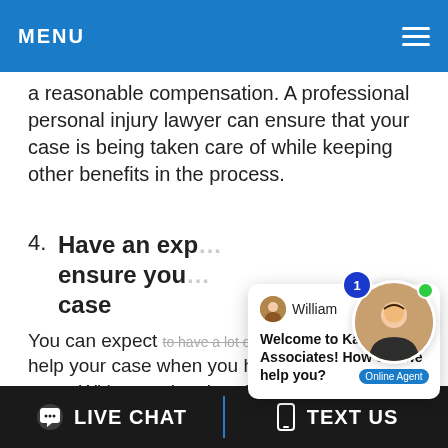MENU
a reasonable compensation. A professional personal injury lawyer can ensure that your case is being taken care of while keeping other benefits in the process.
4. Have an exp… ensure you… case
You can expect to have a lot of good connections to help your case when you hire a personal injury lawyer. With more legal professionals involved, you're on a collaborative effort to improve your claim… court.
[Figure (screenshot): Live chat popup widget with agent named William: 'Welcome to Kalsi & Associates! How can we help you?' and an Online Agent badge with photo.]
LIVE CHAT   TEXT US